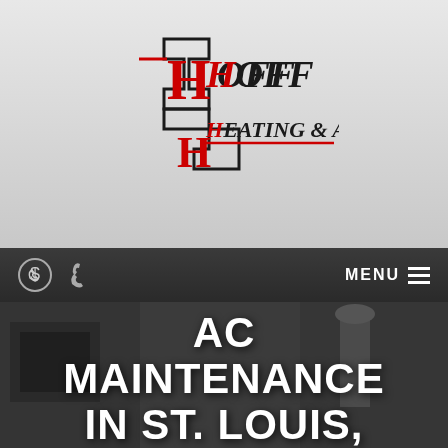[Figure (logo): Hoff Heating & A/C, Inc. company logo with stylized H letters in a geometric shape, red and black coloring]
MENU
AC MAINTENANCE IN ST. LOUIS, MO